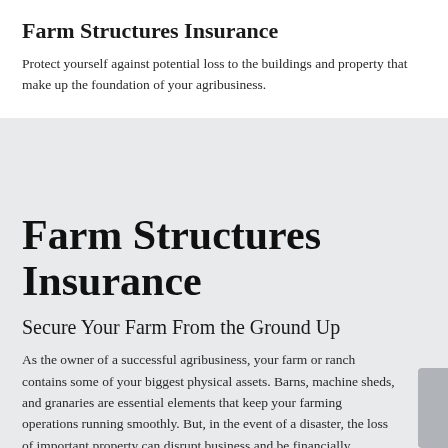Farm Structures Insurance
Protect yourself against potential loss to the buildings and property that make up the foundation of your agribusiness.
Farm Structures Insurance
Secure Your Farm From the Ground Up
As the owner of a successful agribusiness, your farm or ranch contains some of your biggest physical assets. Barns, machine sheds, and granaries are essential elements that keep your farming operations running smoothly. But, in the event of a disaster, the loss of important property can disrupt business and be financially devastating.
Protecting your buildings and your livelihood is easy with a Farm Structures policy from Scott Shirley Insurance Agen... Thi...